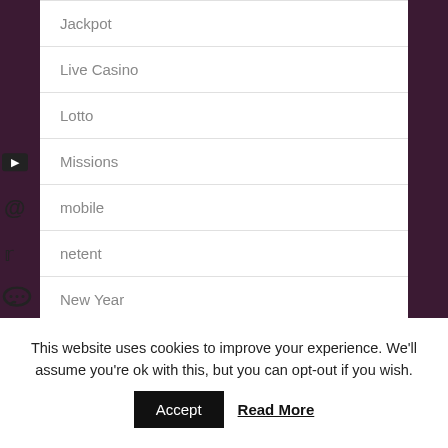Jackpot
Live Casino
Lotto
Missions
mobile
netent
New Year
This website uses cookies to improve your experience. We'll assume you're ok with this, but you can opt-out if you wish.
Accept
Read More